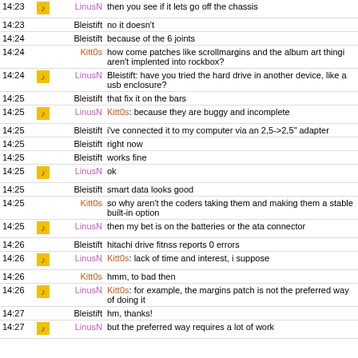| Time | Icon | Nick | Message |
| --- | --- | --- | --- |
| 14:23 | icon | LinusN | then you see if it lets go off the chassis |
| 14:23 |  | Bleistift | no it doesn't |
| 14:24 |  | Bleistift | because of the 6 joints |
| 14:24 |  | Kitt0s | how come patches like scrollmargins and the album art thingi aren't implented into rockbox? |
| 14:24 | icon | LinusN | Bleistift: have you tried the hard drive in another device, like a usb enclosure? |
| 14:25 |  | Bleistift | that fix it on the bars |
| 14:25 | icon | LinusN | Kitt0s: because they are buggy and incomplete |
| 14:25 |  | Bleistift | i've connected it to my computer via an 2,5->2,5" adapter |
| 14:25 |  | Bleistift | right now |
| 14:25 |  | Bleistift | works fine |
| 14:25 | icon | LinusN | ok |
| 14:25 |  | Bleistift | smart data looks good |
| 14:25 |  | Kitt0s | so why aren't the coders taking them and making them a stable built-in option |
| 14:25 | icon | LinusN | then my bet is on the batteries or the ata connector |
| 14:26 |  | Bleistift | hitachi drive fitnss reports 0 errors |
| 14:26 | icon | LinusN | Kitt0s: lack of time and interest, i suppose |
| 14:26 |  | Kitt0s | hmm, to bad then |
| 14:26 | icon | LinusN | Kitt0s: for example, the margins patch is not the preferred way of doing it |
| 14:27 |  | Bleistift | hm, thanks! |
| 14:27 | icon | LinusN | but the preferred way requires a lot of work |